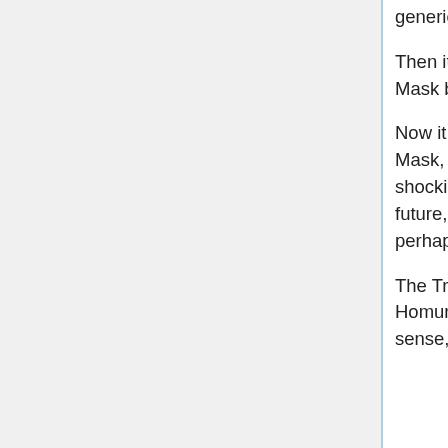generically positive Comedy Mask. It floats closer to the group, amiably. :)
Then it passes its hand over its mask, removing it, and revealing a Tragedy Mask beneath. D:
Now it is somewhat less friendly-looking. And it's still holding the Comedy Mask, which it flings straight at Fuu, slamming towards her face with shocking force! If it makes contact, it will be stuck on for the immediate future, preventing her from speaking (beyond some muffled shrieks, perhaps), though not, technically, preventing her from smiling.
The Tragedy Mask is stripped away almost as quickly and slammed at Homura, revealing both that this nakewameke has a pretty good aesthetic sense, and has become a Tengu. :>